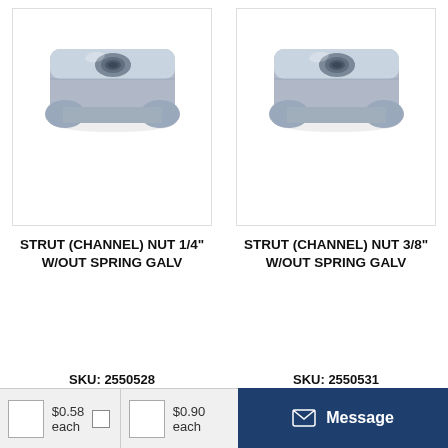[Figure (photo): Strut channel nut 1/4 inch without spring, galvanized, metallic silver color]
STRUT (CHANNEL) NUT 1/4" W/OUT SPRING GALV
SKU: 2550528
$0.58
As low as: 0.37
[Figure (photo): Strut channel nut 3/8 inch without spring, galvanized, metallic silver color]
STRUT (CHANNEL) NUT 3/8" W/OUT SPRING GALV
SKU: 2550531
$0.90
As low as: 0.58